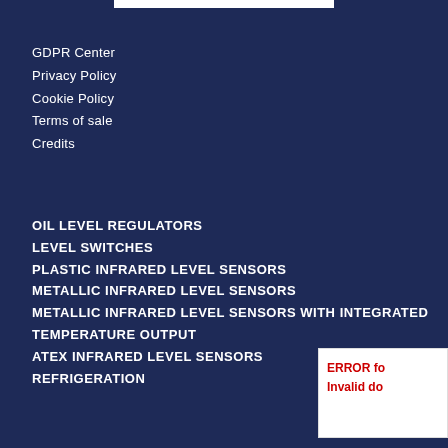GDPR Center
Privacy Policy
Cookie Policy
Terms of sale
Credits
OIL LEVEL REGULATORS
LEVEL SWITCHES
PLASTIC INFRARED LEVEL SENSORS
METALLIC INFRARED LEVEL SENSORS
METALLIC INFRARED LEVEL SENSORS WITH INTEGRATED TEMPERATURE OUTPUT
ATEX INFRARED LEVEL SENSORS
REFRIGERATION
ERROR fo
Invalid do